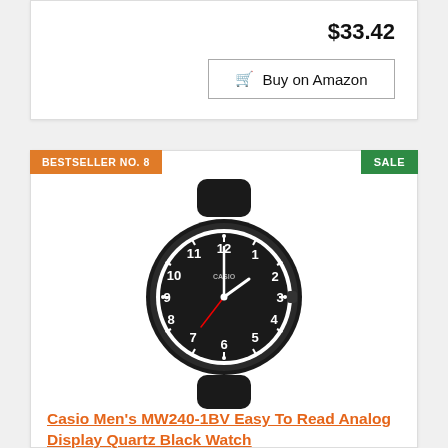$33.42
Buy on Amazon
BESTSELLER NO. 8
SALE
[Figure (photo): Casio Men's MW240-1BV black analog watch with black resin band, white Arabic numeral indices on black dial, quartz movement]
Casio Men's MW240-1BV Easy To Read Analog Display Quartz Black Watch
$15.88 Prime
Buy on Amazon